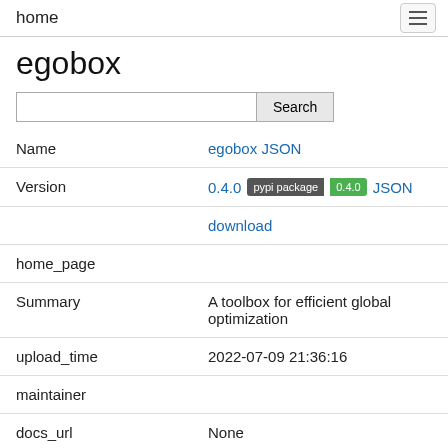home
egobox
| Field | Value |
| --- | --- |
| Name | egobox JSON |
| Version | 0.4.0  pypi package 0.4.0  JSON |
|  | download |
| home_page |  |
| Summary | A toolbox for efficient global optimization |
| upload_time | 2022-07-09 21:36:16 |
| maintainer |  |
| docs_url | None |